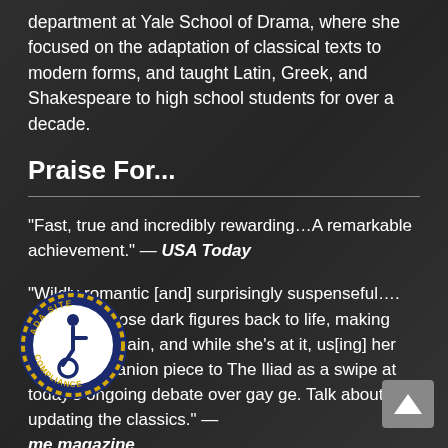department at Yale School of Drama, where she focused on the adaptation of classical texts to modern forms, and taught Latin, Greek, and Shakespeare to high school students for over a decade.
Praise For...
“Fast, true and incredibly rewarding…A remarkable achievement.” — USA Today
“Wildly romantic [and] surprisingly suspenseful…. [B]ringing those dark figures back to life, making them men again, and while she’s at it, us[ing] her onate companion piece to The Iliad as a swipe at today’s ongoing debate over gay ge. Talk about updating the classics.” — me magazine